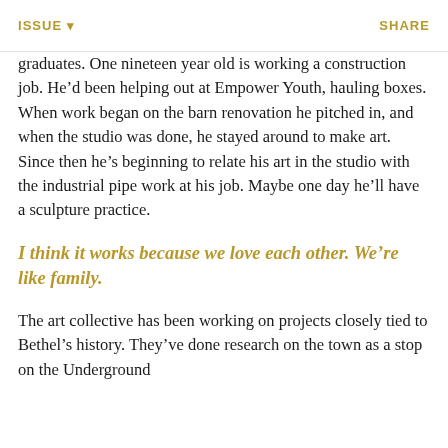ISSUE ▾   SHARE
graduates. One nineteen year old is working a construction job. He'd been helping out at Empower Youth, hauling boxes. When work began on the barn renovation he pitched in, and when the studio was done, he stayed around to make art. Since then he's beginning to relate his art in the studio with the industrial pipe work at his job. Maybe one day he'll have a sculpture practice.
I think it works because we love each other. We're like family.
The art collective has been working on projects closely tied to Bethel's history. They've done research on the town as a stop on the Underground